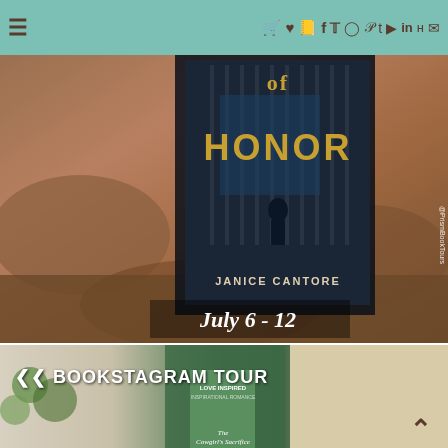Navigation bar with hamburger menu and social media icons
[Figure (photo): Book cover for 'Code of Honor' by Janice Cantore displayed against a rocky desert background, with text 'July 6 - 12' overlaid and '@PrismBookTours' watermark]
[Figure (photo): Bookstagram Tour promotional image showing a book 'The Cowgirl's Sacrifice' (Love Inspired Inspirational Romance) against a backdrop of cactus-patterned pillows, green cushions, and a cream knitted throw]